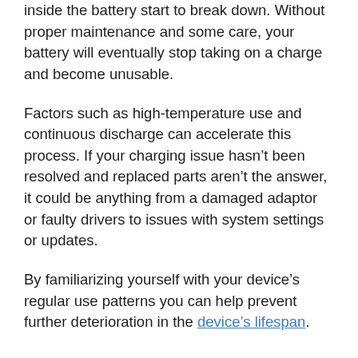inside the battery start to break down. Without proper maintenance and some care, your battery will eventually stop taking on a charge and become unusable.
Factors such as high-temperature use and continuous discharge can accelerate this process. If your charging issue hasn't been resolved and replaced parts aren't the answer, it could be anything from a damaged adaptor or faulty drivers to issues with system settings or updates.
By familiarizing yourself with your device's regular use patterns you can help prevent further deterioration in the device's lifespan.